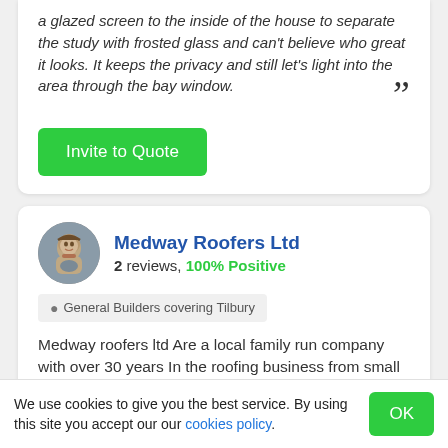a glazed screen to the inside of the house to separate the study with frosted glass and can't believe who great it looks. It keeps the privacy and still let's light into the area through the bay window.
Invite to Quote
Medway Roofers Ltd
2 reviews, 100% Positive
General Builders covering Tilbury
Medway roofers ltd Are a local family run company with over 30 years In the roofing business from small
We use cookies to give you the best service. By using this site you accept our our cookies policy.